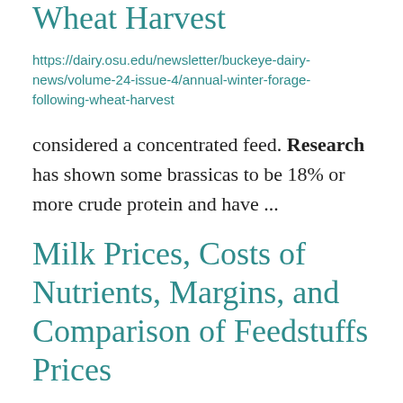Wheat Harvest
https://dairy.osu.edu/newsletter/buckeye-dairy-news/volume-24-issue-4/annual-winter-forage-following-wheat-harvest
considered a concentrated feed. Research has shown some brassicas to be 18% or more crude protein and have ...
Milk Prices, Costs of Nutrients, Margins, and Comparison of Feedstuffs Prices
https://dairy.osu.edu/newsletter/buckeye-dairy-news/volume-24-issue-4/milk-prices-costs-nutrients-margins-and-comparison
April F. White, Graduate Research Associate, Department of Animal Sciences, The Ohio State ...